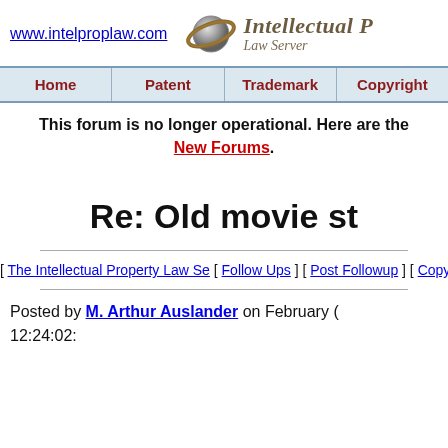www.intelproplaw.com — Intellectual Property Law Server
| Home | Patent | Trademark | Copyright |
| --- | --- | --- | --- |
This forum is no longer operational. Here are the New Forums.
Re: Old movie st
[ The Intellectual Property Law Se
[ Follow Ups ] [ Post Followup ] [ Copyright P
Posted by M. Arthur Auslander on February ... 12:24:02: